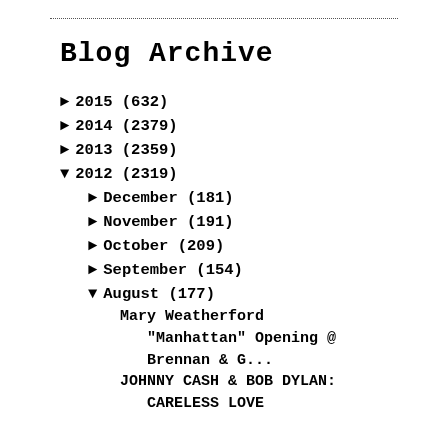Blog Archive
► 2015 (632)
► 2014 (2379)
► 2013 (2359)
▼ 2012 (2319)
► December (181)
► November (191)
► October (209)
► September (154)
▼ August (177)
Mary Weatherford "Manhattan" Opening @ Brennan & G...
JOHNNY CASH & BOB DYLAN: CARELESS LOVE